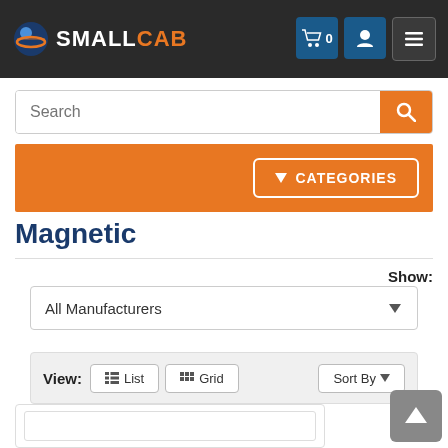[Figure (screenshot): SmallCab website header with logo, cart icon with 0 items, user icon, and menu icon on dark background]
[Figure (screenshot): Search bar with placeholder text 'Search' and orange search button]
[Figure (screenshot): Orange categories bar with 'CATEGORIES' dropdown button]
Magnetic
Show:
All Manufacturers
View: List  Grid  Sort By